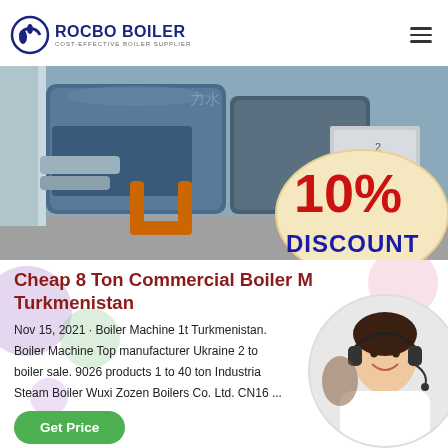[Figure (logo): Rocbo Boiler logo with circular emblem and text 'ROCBO BOILER - COST-EFFECTIVE BOILER SUPPLIER']
[Figure (photo): Industrial boiler room interior showing large blue cylindrical boilers, orange pipe fittings, and a grey square cabinet/unit. A 10% DISCOUNT badge overlays the bottom right.]
Cheap 8 Ton Commercial Boiler Machine Turkmenistan
Nov 15, 2021 · Boiler Machine 1t Turkmenistan. Boiler Machine Top manufacturer Ukraine 2 to boiler sale. 9026 products 1 to 40 ton Industrial Steam Boiler Wuxi Zozen Boilers Co. Ltd. CN16 ...
[Figure (photo): Customer service agent woman with headset smiling, overlaid on decorative bubble background]